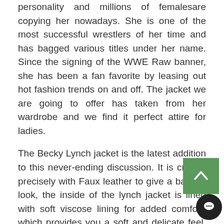personality and millions of females are copying her nowadays. She is one of the most successful wrestlers of her time and has bagged various titles under her name. Since the signing of the WWE Raw banner, she has been a fan favorite by leasing out hot fashion trends on and off. The jacket we are going to offer has taken from her wardrobe and we find it perfect attire for ladies.
The Becky Lynch jacket is the latest addition to this never-ending discussion. It is crafted precisely with Faux leather to give a badass look, the inside of the lynch jacket is lined with soft viscose lining for added comfort. which provides you a soft and delicate feel. The indent neckline gives an increasingly sharp look, and the symmetrical zipper completion gives you a one-of-a-kind and tense look. Full sleeves with an open stitch cuff give you like a rough and tough woman, who can conquer everything.
We manufacture all types of jackets and coats in leather, cotton, and denim. Do visit our store and choose your